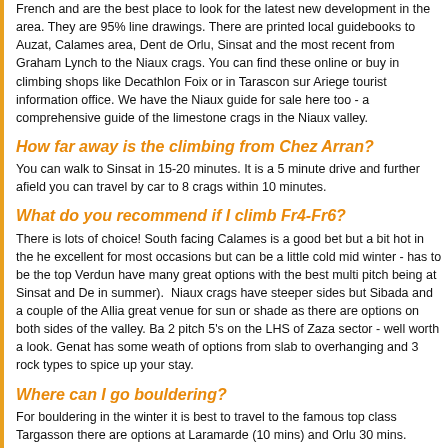French and are the best place to look for the latest new development in the area. They are 95% line drawings. There are printed local guidebooks to Auzat, Calames area, Dent de Orlu, Sinsat and the most recent from Graham Lynch to the Niaux crags. You can find these online or buy in climbing shops like Decathlon Foix or in Tarascon sur Ariege tourist information office. We have the Niaux guide for sale here too - a comprehensive guide of the limestone crags in the Niaux valley.
How far away is the climbing from Chez Arran?
You can walk to Sinsat in 15-20 minutes. It is a 5 minute drive and further afield you can travel by car to 8 crags within 10 minutes.
What do you recommend if I climb Fr4-Fr6?
There is lots of choice! South facing Calames is a good bet but a bit hot in the he excellent for most occasions but can be a little cold mid winter - has to be the top Verdun have many great options with the best multi pitch being at Sinsat and De in summer). Niaux crags have steeper sides but Sibada and a couple of the Allia great venue for sun or shade as there are options on both sides of the valley. Ba 2 pitch 5's on the LHS of Zaza sector - well worth a look. Genat has some weath of options from slab to overhanging and 3 rock types to spice up your stay.
Where can I go bouldering?
For bouldering in the winter it is best to travel to the famous top class Targasson there are options at Laramarde (10 mins) and Orlu 30 mins. Laramarde does ge
Where can I find pictures of the climbing here?
Below and you can also check out our Facebook page here:  https://www.face Arran/320358506480